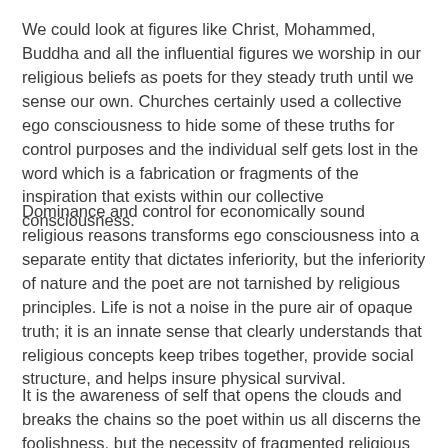We could look at figures like Christ, Mohammed, Buddha and all the influential figures we worship in our religious beliefs as poets for they steady truth until we sense our own. Churches certainly used a collective ego consciousness to hide some of these truths for control purposes and the individual self gets lost in the word which is a fabrication or fragments of the inspiration that exists within our collective consciousness.
Dominance and control for economically sound religious reasons transforms ego consciousness into a separate entity that dictates inferiority, but the inferiority of nature and the poet are not tarnished by religious principles. Life is not a noise in the pure air of opaque truth; it is an innate sense that clearly understands that religious concepts keep tribes together, provide social structure, and helps insure physical survival.
It is the awareness of self that opens the clouds and breaks the chains so the poet within us all discerns the foolishness, but the necessity of fragmented religious beliefs.